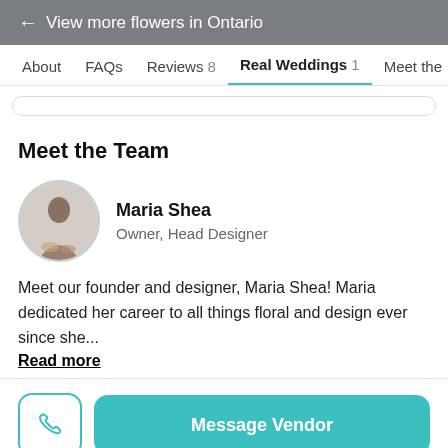← View more flowers in Ontario
About   FAQs   Reviews 8   Real Weddings 1   Meet the
Meet the Team
[Figure (photo): Circular avatar photo of Maria Shea, a person holding flowers in a light-colored setting]
Maria Shea
Owner, Head Designer
Meet our founder and designer, Maria Shea! Maria dedicated her career to all things floral and design ever since she...
Read more
Message Vendor